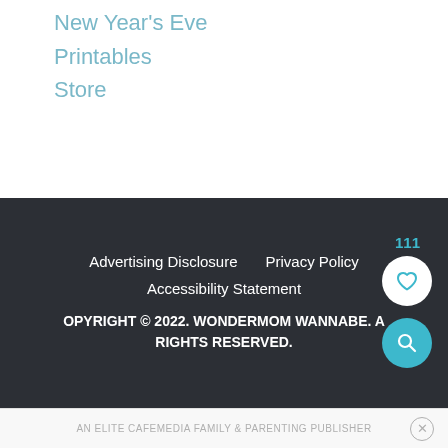New Year's Eve
Printables
Store
Advertising Disclosure   Privacy Policy   Accessibility Statement   COPYRIGHT © 2022. WONDERMOM WANNABE. ALL RIGHTS RESERVED.
AN ELITE CAFEMEDIA FAMILY & PARENTING PUBLISHER